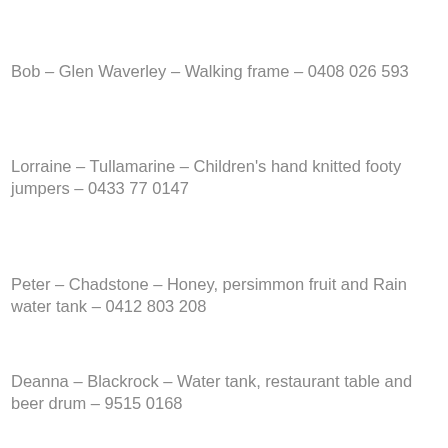Bob – Glen Waverley – Walking frame – 0408 026 593
Lorraine – Tullamarine – Children's hand knitted footy jumpers – 0433 77 0147
Peter – Chadstone – Honey, persimmon fruit and Rain water tank – 0412 803 208
Deanna – Blackrock – Water tank, restaurant table and beer drum – 9515 0168